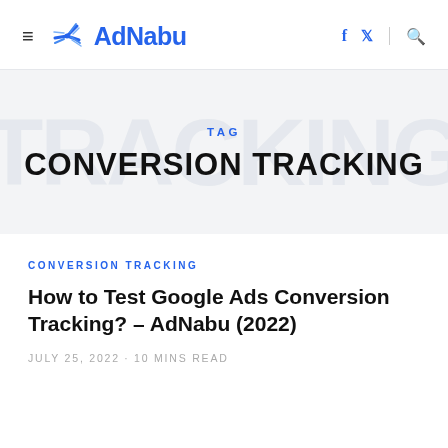AdNabu — navigation header with hamburger menu, logo, social icons (f, twitter), and search
TAG
CONVERSION TRACKING
CONVERSION TRACKING
How to Test Google Ads Conversion Tracking? – AdNabu (2022)
JULY 25, 2022 · 10 MINS READ